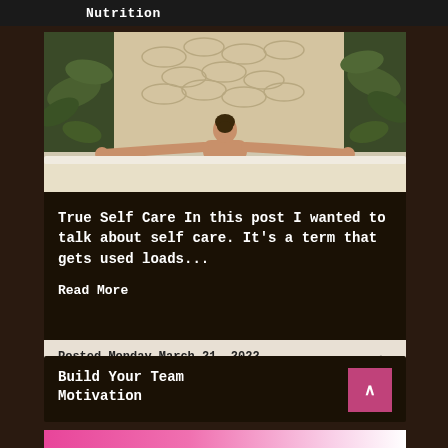Nutrition
[Figure (photo): Woman with back turned, arms outstretched, relaxing in a bath/spa with decorative carved wall and tropical plants in background]
True Self Care In this post I wanted to talk about self care. It’s a term that gets used loads...
Read More
Posted Monday March 21, 2022
0 Comments
Build Your Team Motivation
[Figure (photo): Pink background with partial view of hands or person, bottom of next card image]